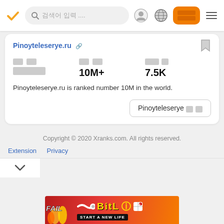[Navigation bar with search: 검색어 입력 ...], user icon, globe icon, orange button [글로벌], hamburger menu
Pinoyteleserye.ru [link icon]
순위
글로벌순위

방문자
10M+

링크수
7.5K
Pinoyteleserye.ru is ranked number 10M in the world.
Pinoyteleserye 방문
Copyright © 2020 Xranks.com. All rights reserved.
Extension  Privacy
[Figure (screenshot): Advertisement banner for BitLife game — red/orange background with FAIL text, cartoon character, BitLife logo in yellow, subtitle START A NEW LIFE]